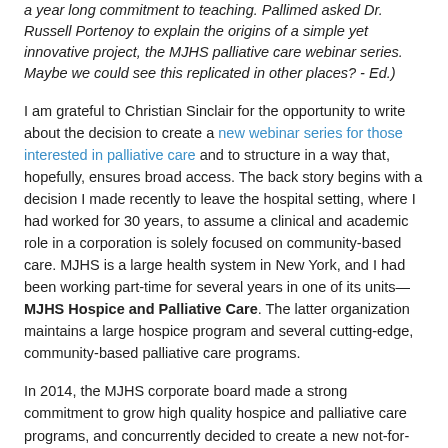a year long commitment to teaching. Pallimed asked Dr. Russell Portenoy to explain the origins of a simple yet innovative project, the MJHS palliative care webinar series. Maybe we could see this replicated in other places? - Ed.)
I am grateful to Christian Sinclair for the opportunity to write about the decision to create a new webinar series for those interested in palliative care and to structure in a way that, hopefully, ensures broad access. The back story begins with a decision I made recently to leave the hospital setting, where I had worked for 30 years, to assume a clinical and academic role in a corporation is solely focused on community-based care. MJHS is a large health system in New York, and I had been working part-time for several years in one of its units—MJHS Hospice and Palliative Care. The latter organization maintains a large hospice program and several cutting-edge, community-based palliative care programs.
In 2014, the MJHS corporate board made a strong commitment to grow high quality hospice and palliative care programs, and concurrently decided to create a new not-for-